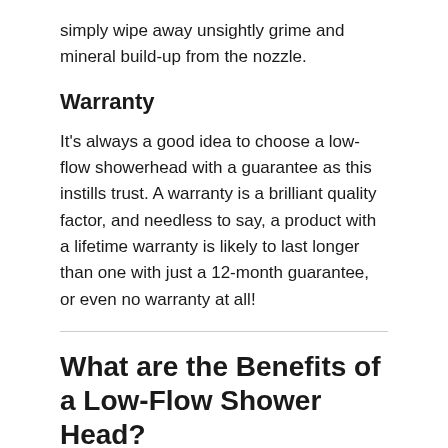simply wipe away unsightly grime and mineral build-up from the nozzle.
Warranty
It's always a good idea to choose a low-flow showerhead with a guarantee as this instills trust. A warranty is a brilliant quality factor, and needless to say, a product with a lifetime warranty is likely to last longer than one with just a 12-month guarantee, or even no warranty at all!
What are the Benefits of a Low-Flow Shower Head?
The main advantage of low-flow showerheads is